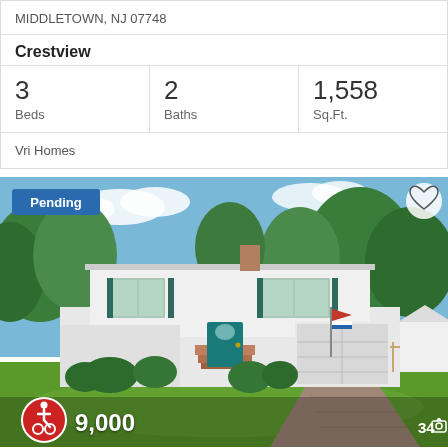MIDDLETOWN, NJ 07748
Crestview
| Beds | Baths | Sq.Ft. |
| --- | --- | --- |
| 3 | 2 | 1,558 |
Vri Homes
[Figure (photo): Exterior photo of a white split-level house with teal/green shutters, teal front door, attached garage, lush green lawn, and mature trees in background. 'Pending' badge top left, heart icon top right, accessibility icon and price bottom left, photo count '34' bottom right.]
Pending
9,000
34